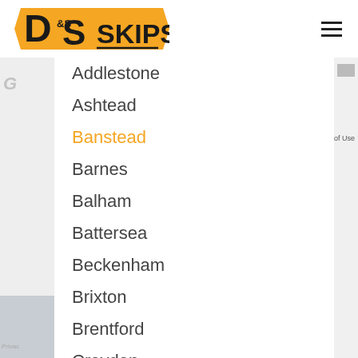[Figure (logo): D&S Skips logo with orange and black design]
Addlestone
Ashtead
Banstead
Barnes
Balham
Battersea
Beckenham
Brixton
Brentford
Croydon
Caterham